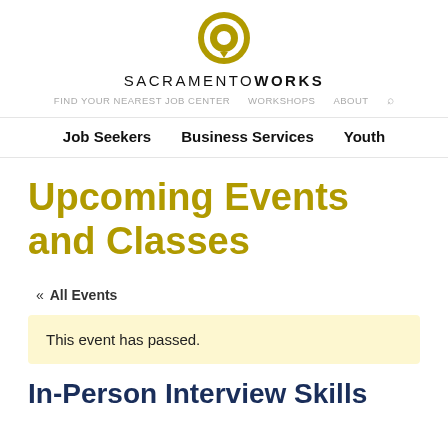[Figure (logo): SacramentoWorks circular logo in gold/olive color with white chat bubble icon]
SACRAMENTOWORKS
FIND YOUR NEAREST JOB CENTER   WORKSHOPS   ABOUT
Job Seekers   Business Services   Youth
Upcoming Events and Classes
« All Events
This event has passed.
In-Person Interview Skills